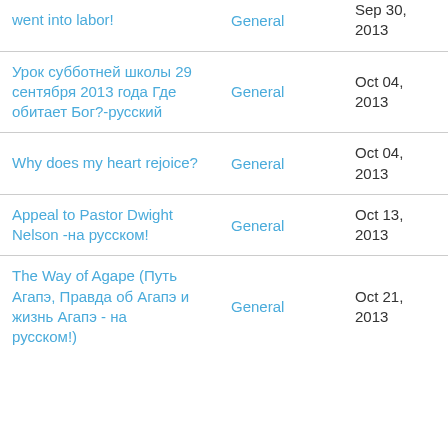| Title | Category | Date | Views |
| --- | --- | --- | --- |
| went into labor! | General | Sep 30, 2013 | 2333 |
| Урок субботней школы 29 сентября 2013 года Где обитает Бог?-русский | General | Oct 04, 2013 | 2499 |
| Why does my heart rejoice? | General | Oct 04, 2013 | 2258 |
| Appeal to Pastor Dwight Nelson -на русском! | General | Oct 13, 2013 | 2367 |
| The Way of Agape (Путь Агапэ, Правда об Агапэ и жизнь Агапэ - на русском) | General | Oct 21, 2013 | 2755 |